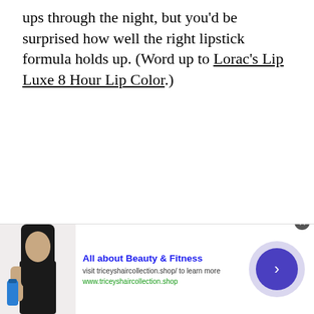ups through the night, but you'd be surprised how well the right lipstick formula holds up. (Word up to Lorac's Lip Luxe 8 Hour Lip Color.)
[Figure (other): Advertisement banner for 'All about Beauty & Fitness' showing a person holding a water bottle, with a blue arrow button and close button. Text: 'All about Beauty & Fitness', 'visit triceyshaircollection.shop/ to learn more', 'www.triceyshaircollection.shop']